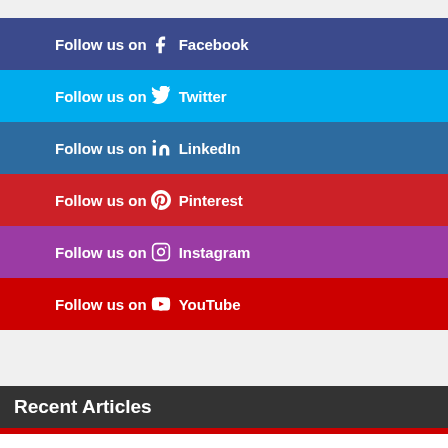Follow us on Facebook
Follow us on Twitter
Follow us on LinkedIn
Follow us on Pinterest
Follow us on Instagram
Follow us on YouTube
Recent Articles
TMZ once saw #AnneHeche going out of her way to help those in need. #rip